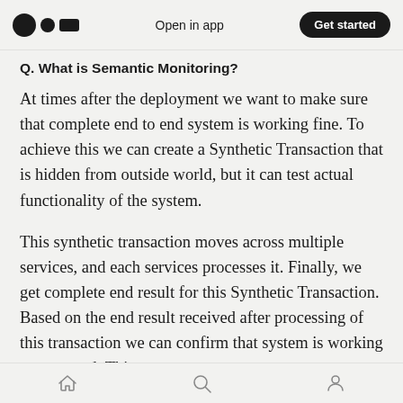Open in app  |  Get started
Q. What is Semantic Monitoring?
At times after the deployment we want to make sure that complete end to end system is working fine. To achieve this we can create a Synthetic Transaction that is hidden from outside world, but it can test actual functionality of the system.
This synthetic transaction moves across multiple services, and each services processes it. Finally, we get complete end result for this Synthetic Transaction. Based on the end result received after processing of this transaction we can confirm that system is working as expected. This
Home  Search  Profile